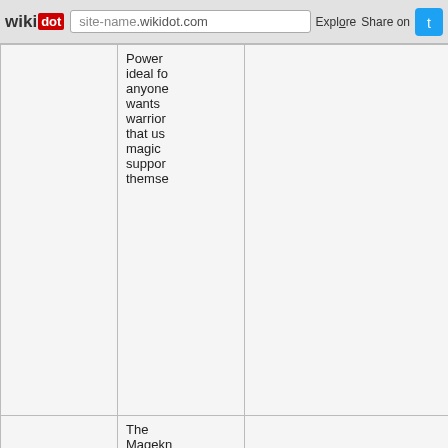wikidot | site-name .wikidot.com | Explore | Share on [Twitter]
| Name | Description |
| --- | --- |
|  | Power ideal for anyone wants warrior that us magic suppo thems |
| Mageknight | The Magek a Low class t essen Magic Sword In add posse natura resilien agains magica effects Magek can le variou of Mys Combi |